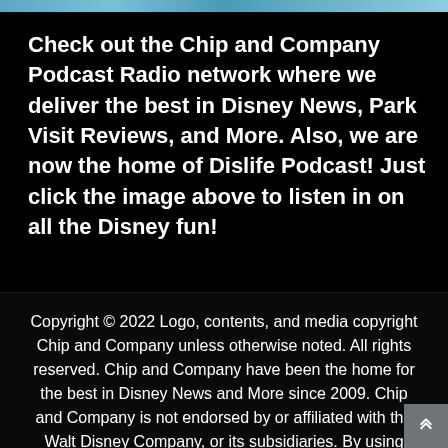[Figure (photo): Colorful image strip at top of page, showing a scenic outdoor scene with blue and teal tones]
Check out the Chip and Company Podcast Radio network where we deliver the best in Disney News, Park Visit Reviews, and More. Also, we are now the home of Dislife Podcast! Just click the image above to listen in on all the Disney fun!
Copyright © 2022 Logo, contents, and media copyright Chip and Company unless otherwise noted. All rights reserved. Chip and Company have been the home for the best in Disney News and More since 2009. Chip and Company is not endorsed by or affiliated with the Walt Disney Company, or its subsidiaries. By using this website